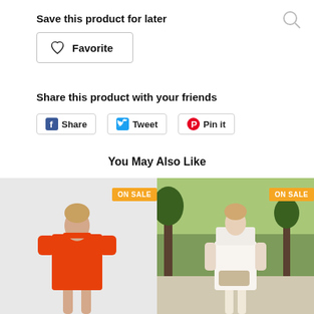Save this product for later
Favorite
Share this product with your friends
Share  Tweet  Pin it
You May Also Like
[Figure (photo): Orange short-sleeve mini dress on model, ON SALE badge]
[Figure (photo): White lace formal dress on model outdoors, ON SALE badge]